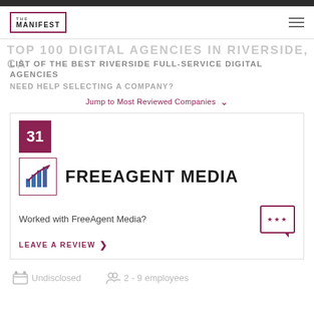THE MANIFEST
TOP 100 DIGITAL AGENCIES IN RIVERSIDE
LIST OF THE BEST RIVERSIDE FULL-SERVICE DIGITAL AGENCIES
NEED HELP SELECTING A COMPANY?
Jump to Most Reviewed Companies
31
FREEAGENT MEDIA
Worked with FreeAgent Media?
LEAVE A REVIEW
Undisclosed
2 - 9 employees